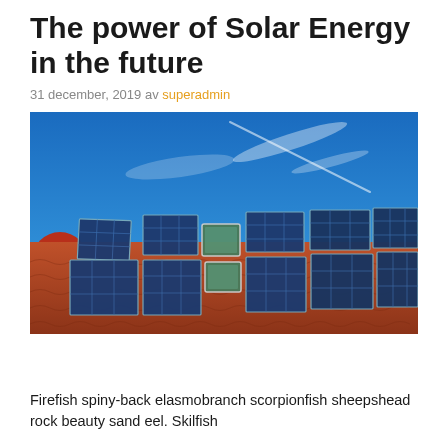The power of Solar Energy in the future
31 december, 2019 av superadmin
[Figure (photo): Upward angle view of solar panels mounted on an orange/red tiled roof against a bright blue sky with wispy clouds and a contrail.]
Firefish spiny-back elasmobranch scorpionfish sheepshead rock beauty sand eel. Skilfish